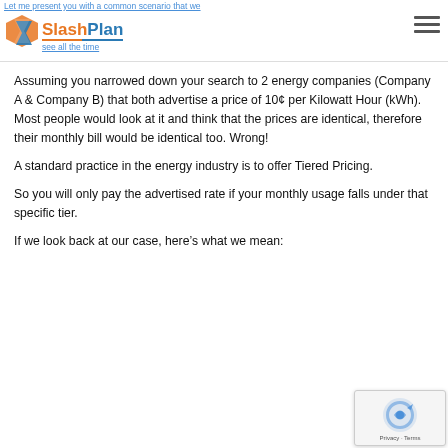Let me present you with a common scenario that we see all the time | SlashPlan logo and navigation
Assuming you narrowed down your search to 2 energy companies (Company A & Company B) that both advertise a price of 10¢ per Kilowatt Hour (kWh). Most people would look at it and think that the prices are identical, therefore their monthly bill would be identical too. Wrong!
A standard practice in the energy industry is to offer Tiered Pricing.
So you will only pay the advertised rate if your monthly usage falls under that specific tier.
If we look back at our case, here's what we mean: